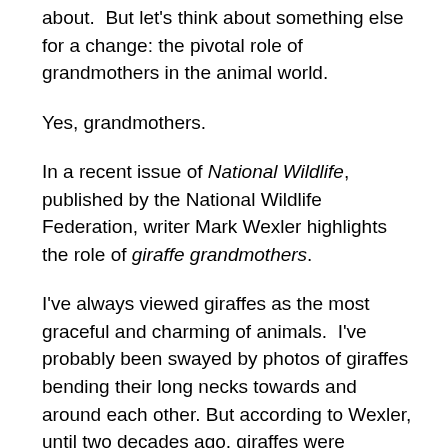about.  But let's think about something else for a change: the pivotal role of grandmothers in the animal world.
Yes, grandmothers.
In a recent issue of National Wildlife, published by the National Wildlife Federation, writer Mark Wexler highlights the role of giraffe grandmothers.
I've always viewed giraffes as the most graceful and charming of animals.  I've probably been swayed by photos of giraffes bending their long necks towards and around each other. But according to Wexler, until two decades ago, giraffes were believed to be basically aloof and lacking any social structure.
Guess again.  Biologists at the University of Bristol have reviewed over 400 scientific studies of giraffe behavior and